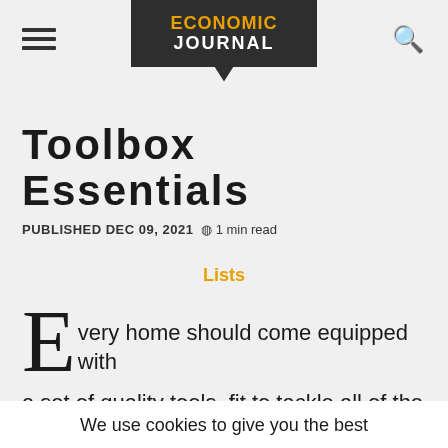ECONOMIC JOURNAL
Toolbox Essentials
PUBLISHED DEC 09, 2021  1 min read
Lists
Every home should come equipped with a set of quality tools, fit to tackle all of the
We use cookies to give you the best